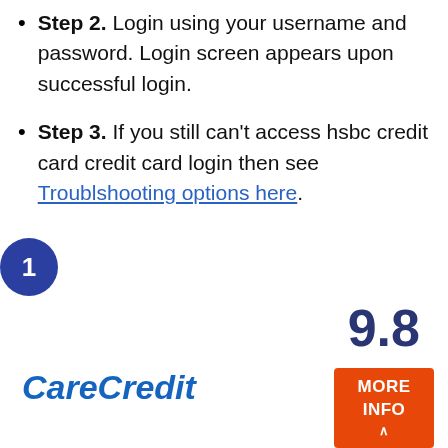Step 2. Login using your username and password. Login screen appears upon successful login.
Step 3. If you still can't access hsbc credit card credit card login then see Troublshooting options here.
[Figure (infographic): Blue circle badge with number 1]
9.8
CareCredit
[Figure (infographic): Blue checkmark icon]
[Figure (infographic): Orange MORE INFO button with upward arrow]